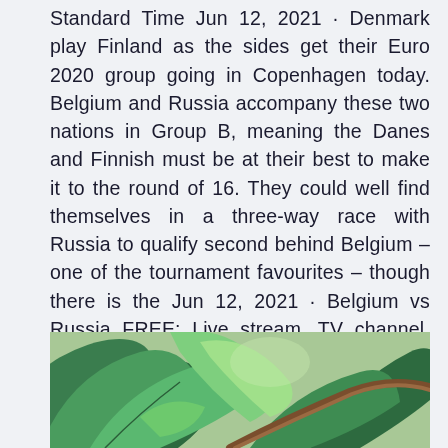Standard Time Jun 12, 2021 · Denmark play Finland as the sides get their Euro 2020 group going in Copenhagen today. Belgium and Russia accompany these two nations in Group B, meaning the Danes and Finnish must be at their best to make it to the round of 16. They could well find themselves in a three-way race with Russia to qualify second behind Belgium – one of the tournament favourites – though there is the Jun 12, 2021 · Belgium vs Russia FREE: Live stream, TV channel, kick-off time, team news for TODAY'S Euro 2020 fixture EURO 2020 is in full flow as we take a look at Roberto Martinez's much fancied Belgium side.
[Figure (photo): Close-up photograph of green tropical leaves with a brown branch/stem visible, taken outdoors with natural light.]